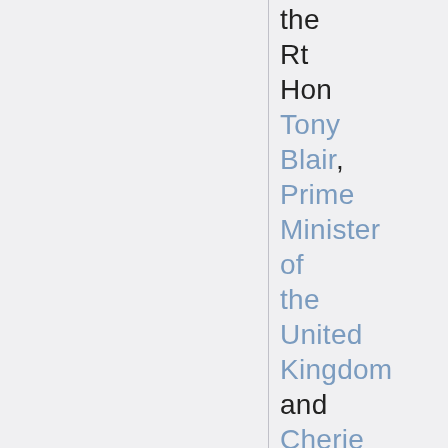the Rt Hon Tony Blair, Prime Minister of the United Kingdom and Cherie Booth QC.